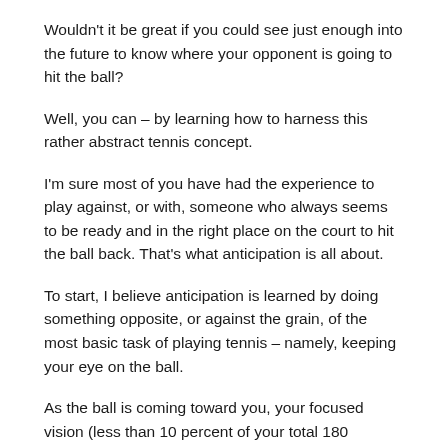Wouldn't it be great if you could see just enough into the future to know where your opponent is going to hit the ball?
Well, you can – by learning how to harness this rather abstract tennis concept.
I'm sure most of you have had the experience to play against, or with, someone who always seems to be ready and in the right place on the court to hit the ball back. That's what anticipation is all about.
To start, I believe anticipation is learned by doing something opposite, or against the grain, of the most basic task of playing tennis – namely, keeping your eye on the ball.
As the ball is coming toward you, your focused vision (less than 10 percent of your total 180 degrees of